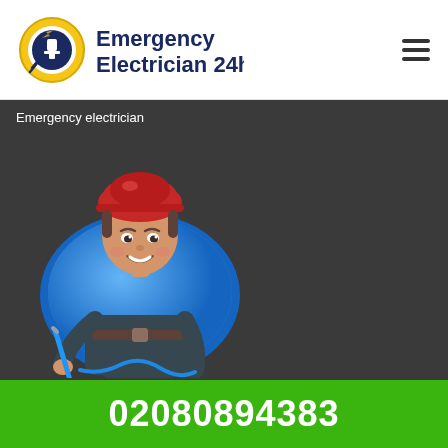[Figure (logo): Emergency Electrician 24h logo with plug/lightning bolt icon and company name in dark blue text]
Emergency electrician
[Figure (illustration): Cartoon illustration of a smiling electrician boy wearing a red hard hat and dark uniform holding a screwdriver, set against a blue oval background, on a dark grey backdrop]
02080894383